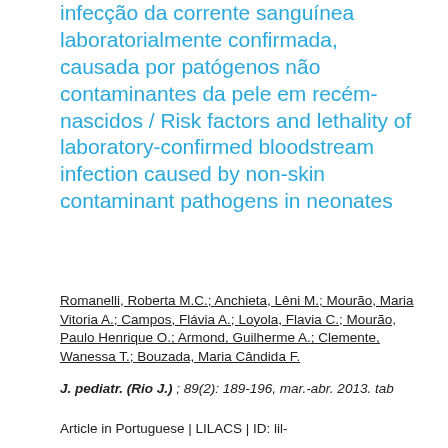infecção da corrente sanguínea laboratorialmente confirmada, causada por patógenos não contaminantes da pele em recém-nascidos / Risk factors and lethality of laboratory-confirmed bloodstream infection caused by non-skin contaminant pathogens in neonates
Romanelli, Roberta M.C.; Anchieta, Lêni M.; Mourão, Maria Vitoria A.; Campos, Flávia A.; Loyola, Flavia C.; Mourão, Paulo Henrique O.; Armond, Guilherme A.; Clemente, Wanessa T.; Bouzada, Maria Cândida F.
J. pediatr. (Rio J.) ; 89(2): 189-196, mar.-abr. 2013. tab
Article in Portuguese | LILACS | ID: lil-